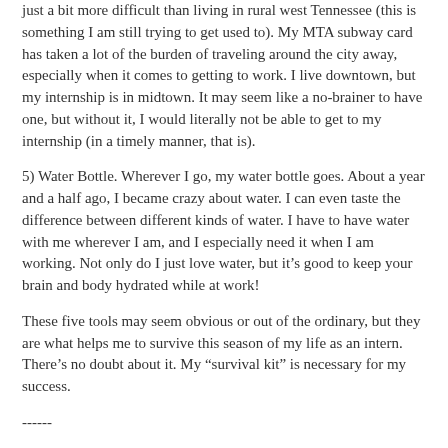just a bit more difficult than living in rural west Tennessee (this is something I am still trying to get used to). My MTA subway card has taken a lot of the burden of traveling around the city away, especially when it comes to getting to work. I live downtown, but my internship is in midtown. It may seem like a no-brainer to have one, but without it, I would literally not be able to get to my internship (in a timely manner, that is).
5) Water Bottle. Wherever I go, my water bottle goes. About a year and a half ago, I became crazy about water. I can even taste the difference between different kinds of water. I have to have water with me wherever I am, and I especially need it when I am working. Not only do I just love water, but it’s good to keep your brain and body hydrated while at work!
These five tools may seem obvious or out of the ordinary, but they are what helps me to survive this season of my life as an intern. There’s no doubt about it. My “survival kit” is necessary for my success.
------
XO,